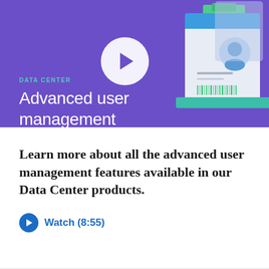[Figure (screenshot): Video thumbnail with purple background showing an ID card illustration on the right and a play button in the center. Text overlay reads 'DATA CENTER' in teal and 'Advanced user management' in white.]
Learn more about all the advanced user management features available in our Data Center products.
Watch (8:55)